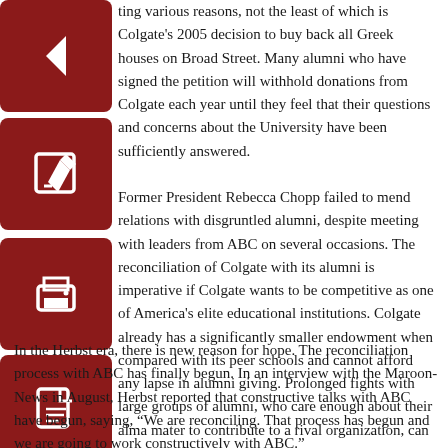[Figure (other): Dark red square button with white left arrow icon (back navigation)]
[Figure (other): Dark red square button with white edit/pencil icon]
[Figure (other): Dark red square button with white printer icon]
[Figure (other): Dark red square button with white PDF/document icon]
ting various reasons, not the least of which is Colgate's 2005 decision to buy back all Greek houses on Broad Street. Many alumni who have signed the petition will withhold donations from Colgate each year until they feel that their questions and concerns about the University have been sufficiently answered.

Former President Rebecca Chopp failed to mend relations with disgruntled alumni, despite meeting with leaders from ABC on several occasions. The reconciliation of Colgate with its alumni is imperative if Colgate wants to be competitive as one of America's elite educational institutions. Colgate already has a significantly smaller endowment when compared with its peer schools and cannot afford any lapse in alumni giving. Prolonged fights with large groups of alumni, who care enough about their alma mater to contribute to a rival organization, can be deadly for a small, rural university such as Colgate. In recent years, tuition has slowly but surely risen while the national ranking of our university has fallen. While this trend continues, Colgate must realize that the time for reconciliation is now and delays could be costly.
In the Herbst era, there is new reason for hope. The reconciliation process with ABC has finally begun. In an interview with the Maroon-News in August, Herbst reported that constructive talks with ABC have begun, saying, “We are reconciling. That process has begun and we are going to work constructively with ABC.”